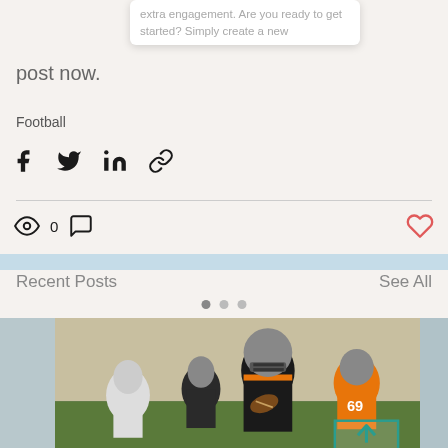extra engagement. Are you ready to get started? Simply create a new post now.
Football
[Figure (infographic): Social share icons: Facebook, Twitter, LinkedIn, and link/copy icons]
[Figure (infographic): Engagement stats row: eye/views icon showing 0, comment bubble icon, and a red heart/like icon on the right]
Recent Posts
See All
[Figure (photo): Football players on a field; center player wearing black and orange jersey number 85, holding a football, with helmet on; other players in background wearing orange jerseys]